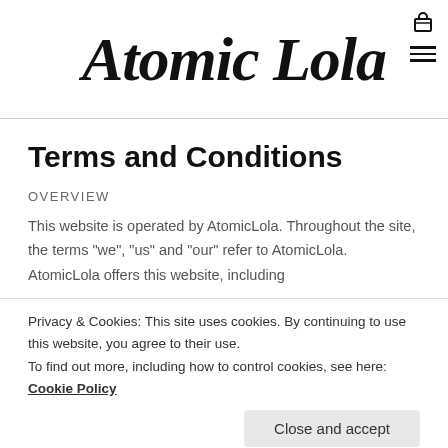Atomic Lola
Terms and Conditions
OVERVIEW
This website is operated by AtomicLola. Throughout the site, the terms “we”, “us” and “our” refer to AtomicLola. AtomicLola offers this website, including
Privacy & Cookies: This site uses cookies. By continuing to use this website, you agree to their use.
To find out more, including how to control cookies, see here: Cookie Policy
By visiting our site and/or purchasing something from